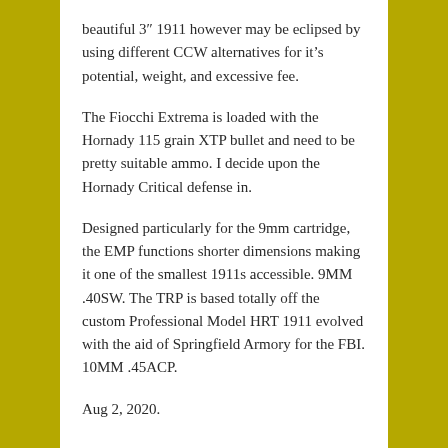beautiful 3″ 1911 however may be eclipsed by using different CCW alternatives for it's potential, weight, and excessive fee.
The Fiocchi Extrema is loaded with the Hornady 115 grain XTP bullet and need to be pretty suitable ammo. I decide upon the Hornady Critical defense in.
Designed particularly for the 9mm cartridge, the EMP functions shorter dimensions making it one of the smallest 1911s accessible. 9MM .40SW. The TRP is based totally off the custom Professional Model HRT 1911 evolved with the aid of Springfield Armory for the FBI. 10MM .45ACP.
Aug 2, 2020.